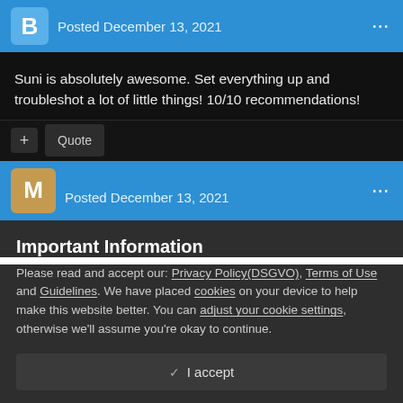Posted December 13, 2021
Suni is absolutely awesome.  Set everything up and troubleshot a lot of little things!  10/10 recommendations!
Posted December 13, 2021
Important Information
Please read and accept our: Privacy Policy(DSGVO), Terms of Use and Guidelines. We have placed cookies on your device to help make this website better. You can adjust your cookie settings, otherwise we'll assume you're okay to continue.